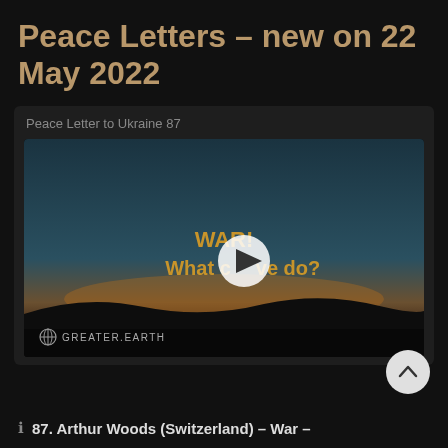Peace Letters – new on 22 May 2022
Peace Letter to Ukraine 87
[Figure (screenshot): Video thumbnail showing a dark landscape at sunset/sunrise with golden text reading 'WAR! What can we do?' overlaid with a play button in the center. The Greater.Earth logo appears at the bottom left.]
87. Arthur Woods (Switzerland) – War –